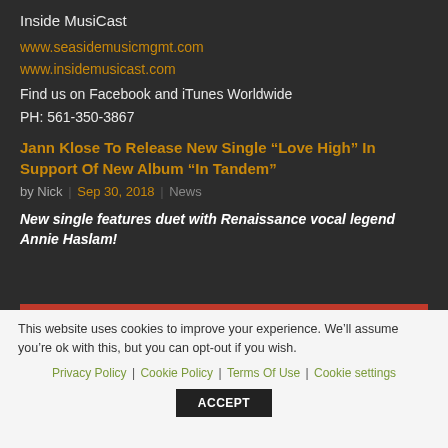Inside MusiCast
www.seasidemusicmgmt.com
www.insidemusicast.com
Find us on Facebook and iTunes Worldwide
PH: 561-350-3867
Jann Klose To Release New Single “Love High” In Support Of New Album “In Tandem”
by Nick | Sep 30, 2018 | News
New single features duet with Renaissance vocal legend Annie Haslam!
This website uses cookies to improve your experience. We’ll assume you’re ok with this, but you can opt-out if you wish.
Privacy Policy | Cookie Policy | Terms Of Use | Cookie settings
ACCEPT